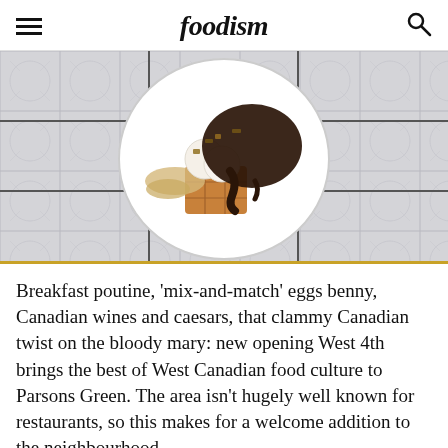foodism
[Figure (photo): Overhead shot of a white plate with a waffle topped with ice cream scoops, chocolate sauce, and crushed nuts, on a patterned tile background]
Breakfast poutine, 'mix-and-match' eggs benny, Canadian wines and caesars, that clammy Canadian twist on the bloody mary: new opening West 4th brings the best of West Canadian food culture to Parsons Green. The area isn't hugely well known for restaurants, so this makes for a welcome addition to the neighbourhood –